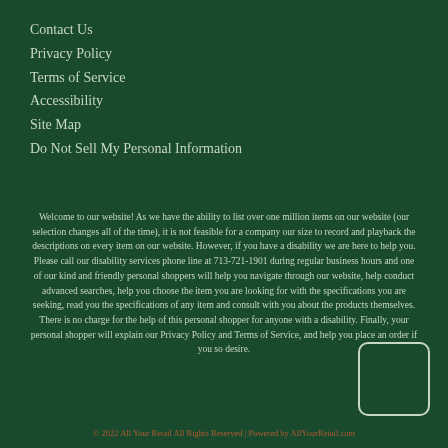Contact Us
Privacy Policy
Terms of Service
Accessibility
Site Map
Do Not Sell My Personal Information
Welcome to our website! As we have the ability to list over one million items on our website (our selection changes all of the time), it is not feasible for a company our size to record and playback the descriptions on every item on our website. However, if you have a disability we are here to help you. Please call our disability services phone line at 713-721-1901 during regular business hours and one of our kind and friendly personal shoppers will help you navigate through our website, help conduct advanced searches, help you choose the item you are looking for with the specifications you are seeking, read you the specifications of any item and consult with you about the products themselves. There is no charge for the help of this personal shopper for anyone with a disability. Finally, your personal shopper will explain our Privacy Policy and Terms of Service, and help you place an order if you so desire.
© 2022 All Your Retail All Rights Reserved | Powered by AllYourRetail.com